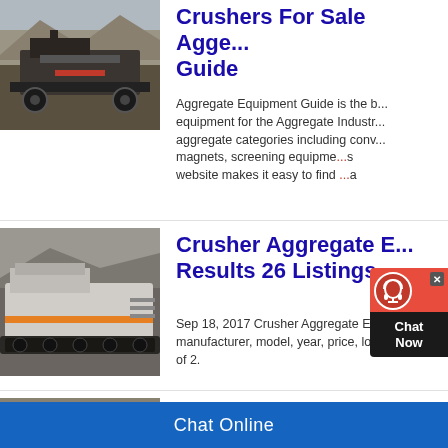[Figure (photo): Aerial or wide-angle photo of a large rock crusher or mining equipment in an open quarry/mining site setting]
Crushers For Sale Aggregate Equipment Guide
Aggregate Equipment Guide is the best source for equipment for the Aggregate Industry. We cover all aggregate categories including conveyors, magnets, screening equipment, and more. Our website makes it easy to find a...
[Figure (photo): Photo of a mobile crusher/aggregate machine on tracks in a mining or quarry environment]
Crusher Aggregate Equipment Results 26 Listings
Sep 18, 2017 Crusher Aggregate Equipment. Sort by manufacturer, model, year, price, lo... of 2.
[Figure (photo): Photo of a large industrial crusher machine being used in a rocky quarry setting]
Aggregate Equipment R... Crushers: Direct Drive
Chat Online